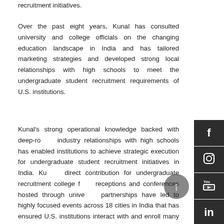recruitment initiatives.
Over the past eight years, Kunal has consulted university and college officials on the changing education landscape in India and has tailored marketing strategies and developed strong local relationships with high schools to meet the undergraduate student recruitment requirements of U.S. institutions.
Kunal's strong operational knowledge backed with deep-rooted industry relationships with high schools has enabled institutions to achieve strategic execution for undergraduate student recruitment initiatives in India. Kunal's direct contribution for undergraduate recruitment college fairs, receptions and conferences hosted through university partnerships have led to highly focused events across 18 cities in India that has ensured U.S. institutions interact with and enroll many good fit undergraduate students along with establishing strong relationships with high school counselors, thereby enabling institutions to meet their internationalization goals.